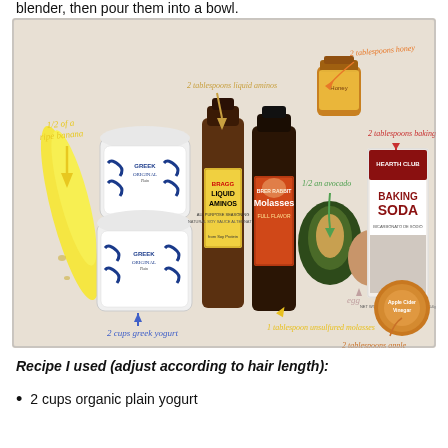blender, then pour them into a bowl.
[Figure (photo): Flat-lay photo of recipe ingredients labeled with handwritten annotations: 1/2 of a ripe banana, 2 cups greek yogurt (2 containers of Greek Original Plain yogurt), 2 tablespoons liquid aminos (Bragg Liquid Aminos bottle), 1 tablespoon unsulfured molasses (Brer Rabbit Molasses bottle), 1/2 an avocado, egg, 2 tablespoons honey (jar of honey), 2 tablespoons baking soda (Hearth Club Baking Soda box), 2 tablespoons apple cider vinegar (Apple Cider Vinegar jar). Annotations in yellow, green, red, and orange handwritten text with arrows.]
Recipe I used (adjust according to hair length):
2 cups organic plain yogurt